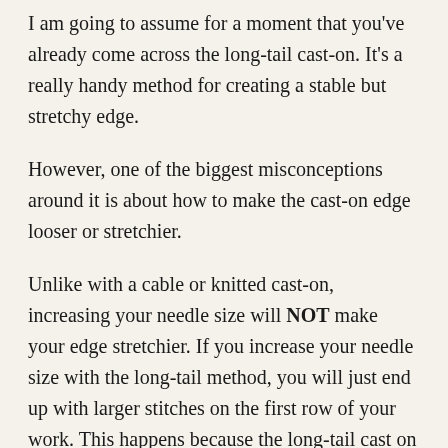I am going to assume for a moment that you've already come across the long-tail cast-on. It's a really handy method for creating a stable but stretchy edge.
However, one of the biggest misconceptions around it is about how to make the cast-on edge looser or stretchier.
Unlike with a cable or knitted cast-on, increasing your needle size will NOT make your edge stretchier. If you increase your needle size with the long-tail method, you will just end up with larger stitches on the first row of your work. This happens because the long-tail cast on consists of creating stitches and knitting them all in the one movement: the stitch is created around the thumb, and then yarn is pulled through that loop, hence knitting it.